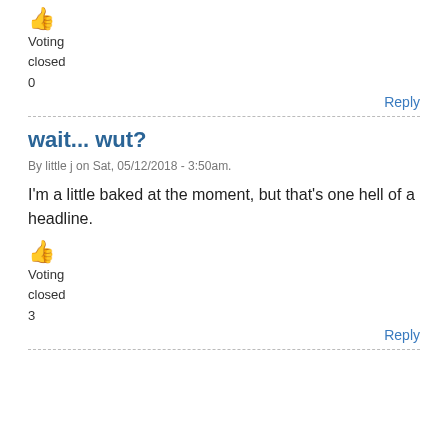[Figure (illustration): Thumbs up emoji icon (orange/yellow)]
Voting
closed
0
Reply
wait... wut?
By little j on Sat, 05/12/2018 - 3:50am.
I'm a little baked at the moment, but that's one hell of a headline.
[Figure (illustration): Thumbs up emoji icon (orange/yellow)]
Voting
closed
3
Reply